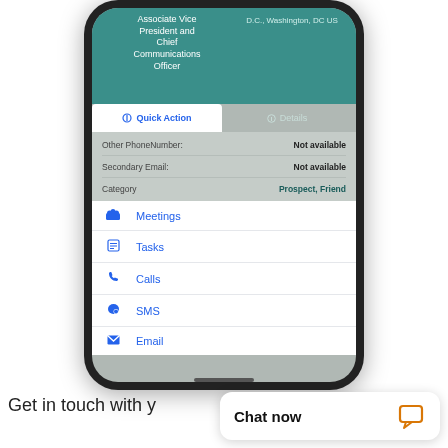[Figure (screenshot): A smartphone displaying a CRM contact detail screen. The top teal area shows 'Associate Vice President and Chief Communications Officer' and location 'D.C., Washington, DC US'. Below are two tabs: 'Quick Action' (active) and 'Details'. Detail fields show: Other PhoneNumber: Not available, Secondary Email: Not available, Category: Prospect, Friend. A white popup menu lists Quick Actions: Meetings, Tasks, Calls, SMS, Email each with icons.]
Get in touch with y
Chat now